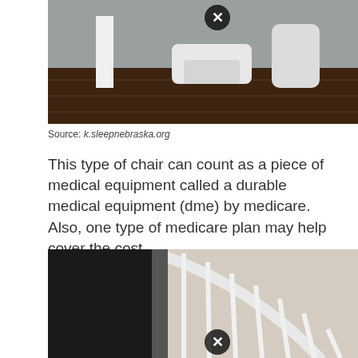[Figure (photo): A stairlift chair folded up at the bottom of a staircase with dark hardwood floors. A circular X/close icon is overlaid near the top center of the image.]
Source: k.sleepnebraska.org
This type of chair can count as a piece of medical equipment called a durable medical equipment (dme) by medicare. Also, one type of medicare plan may help cover the cost.
[Figure (photo): Interior staircase with white wooden banisters and spindles, beige walls. A circular X/close icon is overlaid near the bottom center of the image.]